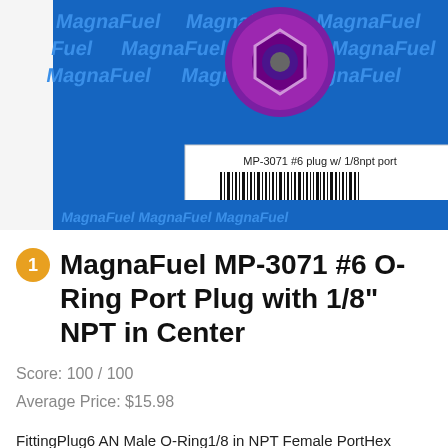[Figure (photo): Product photo of MagnaFuel MP-3071 #6 O-Ring Port Plug with purple anodized finish, shown on blue MagnaFuel branded packaging with barcode label reading 'MP-3071 #6 plug w/ 1/8npt port', barcode '8 19315 00041 0', and 'MagnaFuel Products, Inc.']
MagnaFuel MP-3071 #6 O-Ring Port Plug with 1/8" NPT in Center
Score: 100 / 100
Average Price: $15.98
FittingPlug6 AN Male O-Ring1/8 in NPT Female PortHex HeadAluminumPurple AnodizeEach. Enter your model number to make sure this fits.